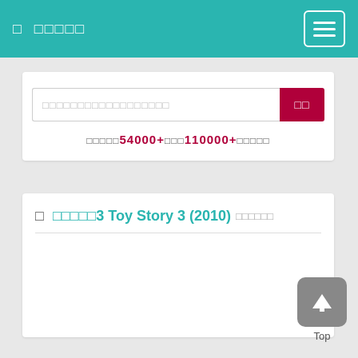□ □□□□□
□□□□□□□□□□□□□□□□□□
□□□□□□54000+□□□110000+□□□□□□
□ □□□□□3 Toy Story 3 (2010)□□□□□□
[Figure (other): Back to top button with upward arrow icon and 'Top' label]